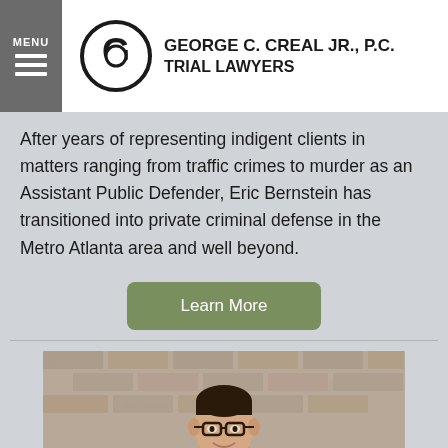MENU | GEORGE C. CREAL JR., P.C. TRIAL LAWYERS
After years of representing indigent clients in matters ranging from traffic crimes to murder as an Assistant Public Defender, Eric Bernstein has transitioned into private criminal defense in the Metro Atlanta area and well beyond.
Learn More
[Figure (photo): Professional headshot of a man wearing glasses, a tan blazer, and a dark red tie, posed in front of a brick wall background.]